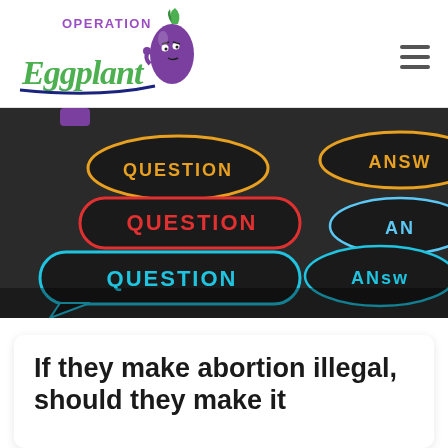[Figure (logo): Operation Eggplant logo with green script text and cartoon eggplant character]
[Figure (photo): Dark background with colorful speech bubble signs reading QUESTION and ANSW in various colors (red, blue, orange)]
If they make abortion illegal, should they make it